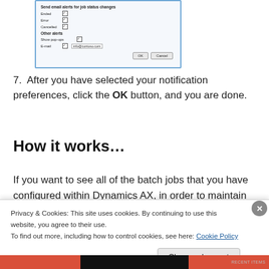[Figure (screenshot): A dialog box screenshot showing notification preferences with checkboxes for 'Send email alerts for job status changes' (Ended, Error, Cancelled), 'Other alerts' section with 'Show pop-ups' and 'E-mail' checkboxes, an email field showing 'info@contoso.com', and OK/Cancel buttons.]
7. After you have selected your notification preferences, click the OK button, and you are done.
How it works…
If you want to see all of the batch jobs that you have configured within Dynamics AX, in order to maintain them,
Privacy & Cookies: This site uses cookies. By continuing to use this website, you agree to their use.
To find out more, including how to control cookies, see here: Cookie Policy
Close and accept